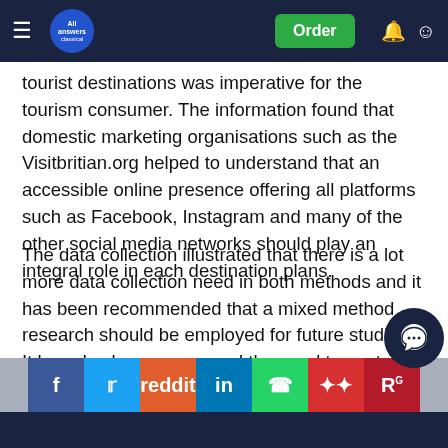All Answers | Order
tourist destinations was imperative for the tourism consumer. The information found that domestic marketing organisations such as the Visitbritian.org helped to understand that an accessible online presence offering all platforms such as Facebook, Instagram and many of the other social media networks should play an integral role in each destination plans.
The data collection illustrated that there is a lot more data collection need in both methods and it has been recommended that a mixed method research should be employed for future studies. It has also been expressed the need to control the time scale that you set for the collection and analysis as this will bring about more respondents and open the value of data collected.
It is felt that many times social media is a constant in